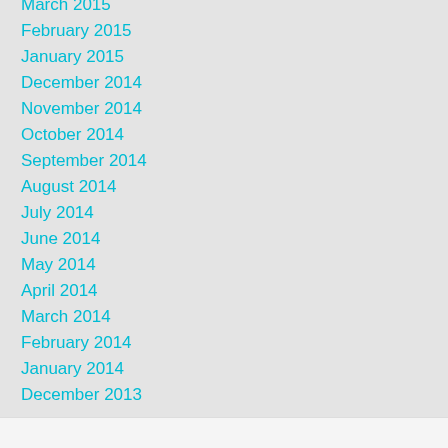March 2015
February 2015
January 2015
December 2014
November 2014
October 2014
September 2014
August 2014
July 2014
June 2014
May 2014
April 2014
March 2014
February 2014
January 2014
December 2013
RSS Feed